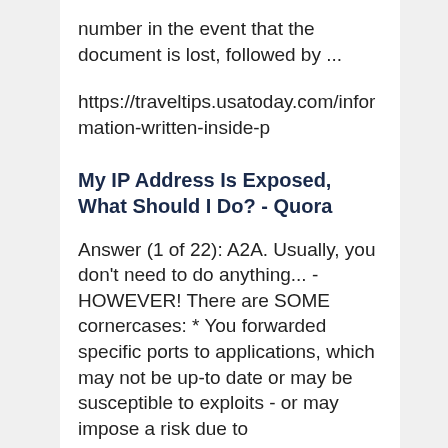number in the event that the document is lost, followed by ...
https://traveltips.usatoday.com/information-written-inside-p
My IP Address Is Exposed, What Should I Do? - Quora
Answer (1 of 22): A2A. Usually, you don't need to do anything... - HOWEVER! There are SOME cornercases: * You forwarded specific ports to applications, which may not be up-to date or may be susceptible to exploits - or may impose a risk due to misconfiguration * ...